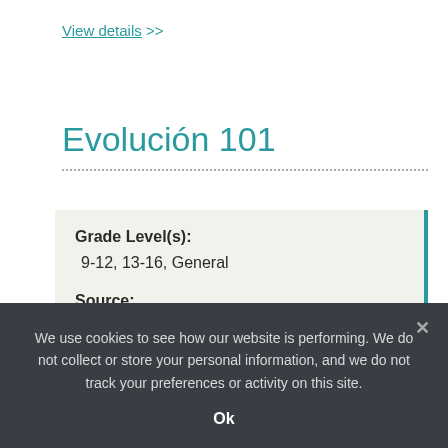View details >>
Evolución 101
Grade Level(s):
9-12, 13-16, General

Source:
We use cookies to see how our website is performing. We do not collect or store your personal information, and we do not track your preferences or activity on this site.
Ok